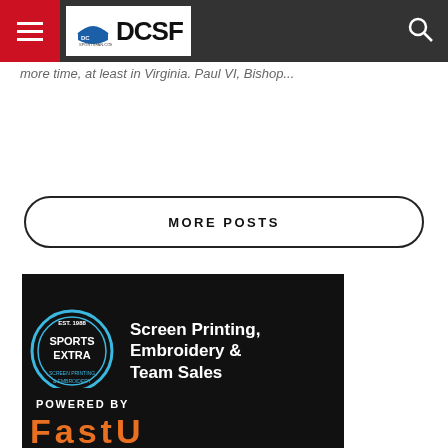DCSF - DC Sports Fan
more time, at least in Virginia. Paul VI, Bishop...
MORE POSTS
[Figure (screenshot): Sports Extra advertisement banner: EST. 1988 Sports Extra logo on left, text 'Screen Printing, Embroidery & Team Sales' on right, black background]
[Figure (screenshot): Partial advertisement banner: 'POWERED BY' label in white text above orange logo text, black background]